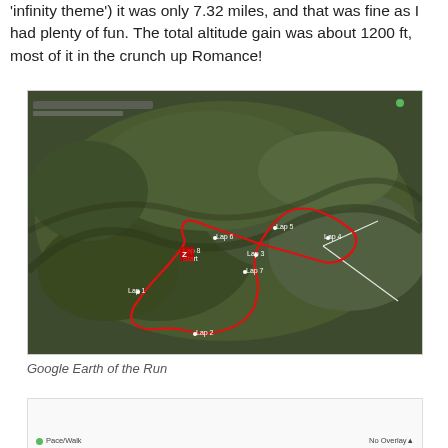'8/infinity theme') it was only 7.32 miles, and that was fine as I had plenty of fun. The total altitude gain was about 1200 ft, most of it in the crunch up Romance!
[Figure (map): Google Earth aerial satellite view of a running route overlaid with a red traced path. Labels show Lap 1 through Lap 8 and Start markers on a mountainous terrain.]
Google Earth of the Run
[Figure (other): Bottom portion of a chart or graph partially visible, showing a green dot legend label 'Pace/Walk' on the left and 'No Overlay' on the right.]